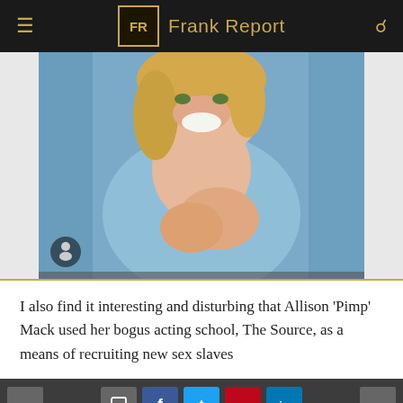Frank Report
[Figure (photo): A smiling woman with blonde hair wearing a light blue tank top, with hands clasped, photographed at close range]
I also find it interesting and disturbing that Allison 'Pimp' Mack used her bogus acting school, The Source, as a means of recruiting new sex slaves
Navigation arrows and social share buttons (comment, Facebook, Twitter, Pinterest, LinkedIn)